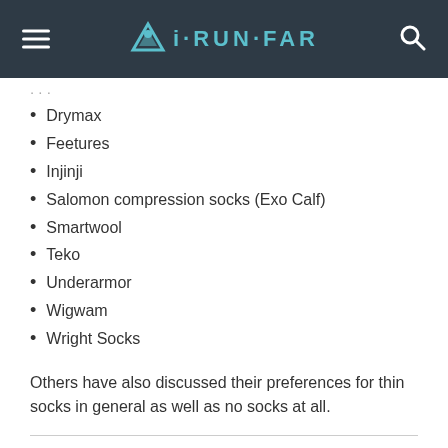iRUN·FAR
Drymax
Feetures
Injinji
Salomon compression socks (Exo Calf)
Smartwool
Teko
Underarmor
Wigwam
Wright Socks
Others have also discussed their preferences for thin socks in general as well as no socks at all.
Related articles:
New iRunFar Gear: Drymax Socks and BUFF®